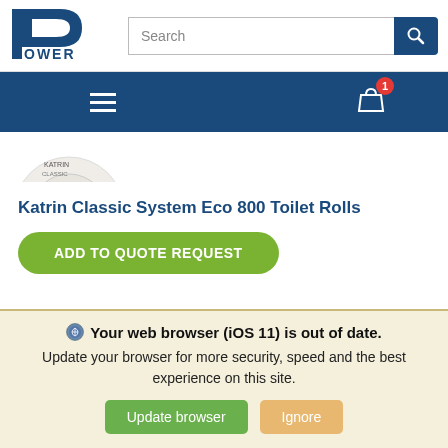[Figure (logo): Power company logo — letter P in blue with 'OWER' text below, stylized block-letter design]
[Figure (screenshot): Search bar input with placeholder text 'Search' and blue search button with magnifying glass icon]
[Figure (screenshot): Dark blue navigation bar with hamburger menu icon and shopping cart icon with red badge showing '1']
[Figure (photo): Partial view of toilet roll product image (cropped circle)]
Katrin Classic System Eco 800 Toilet Rolls
[Figure (screenshot): Green rounded button labeled 'ADD TO QUOTE REQUEST']
Your web browser (iOS 11) is out of date. Update your browser for more security, speed and the best experience on this site.
Update browser   Ignore